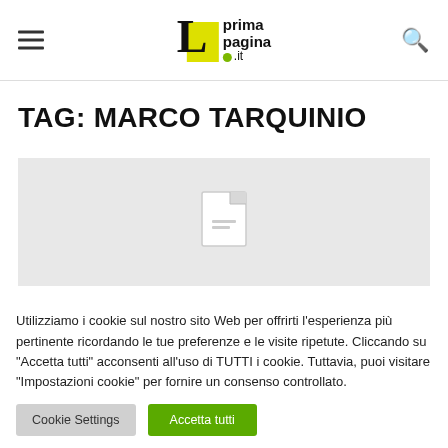La prima pagina .it — navigation header with hamburger menu, logo, and search icon
TAG: MARCO TARQUINIO
[Figure (photo): Gray placeholder image box with a broken/missing image icon in the center]
Utilizziamo i cookie sul nostro sito Web per offrirti l'esperienza più pertinente ricordando le tue preferenze e le visite ripetute. Cliccando su "Accetta tutti" acconsenti all'uso di TUTTI i cookie. Tuttavia, puoi visitare "Impostazioni cookie" per fornire un consenso controllato.
Cookie Settings | Accetta tutti